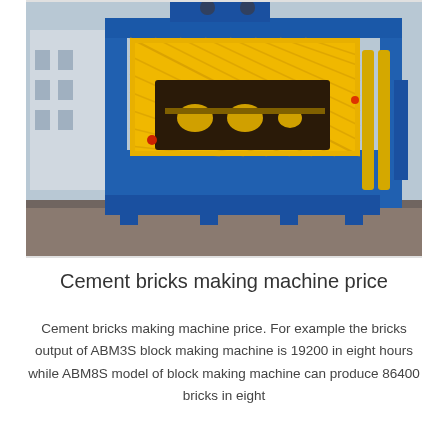[Figure (photo): Photograph of a large industrial cement brick making machine with a blue steel frame and yellow mesh-guarded section, photographed outdoors at a factory yard.]
Cement bricks making machine price
Cement bricks making machine price. For example the bricks output of ABM3S block making machine is 19200 in eight hours while ABM8S model of block making machine can produce 86400 bricks in eight